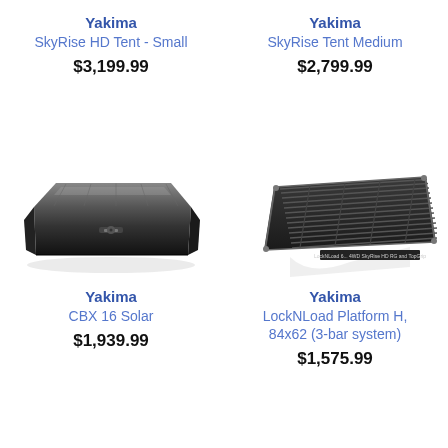Yakima
SkyRise HD Tent - Small
$3,199.99
Yakima
SkyRise Tent Medium
$2,799.99
[Figure (photo): Yakima CBX 16 Solar black roof cargo box, sleek aerodynamic shape viewed from slight angle]
[Figure (photo): Yakima LockNLoad Platform H roof rack platform, black slotted rectangular tray on white background with small label text]
Yakima
CBX 16 Solar
$1,939.99
Yakima
LockNLoad Platform H, 84x62 (3-bar system)
$1,575.99